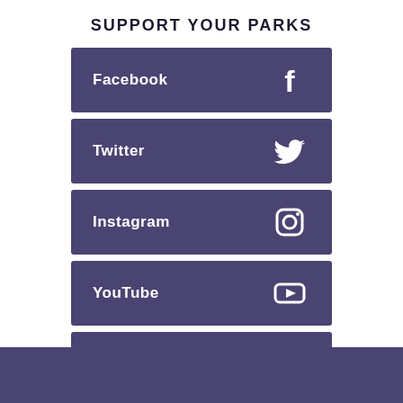SUPPORT YOUR PARKS
Facebook
Twitter
Instagram
YouTube
Park Alerts
Burn Bans